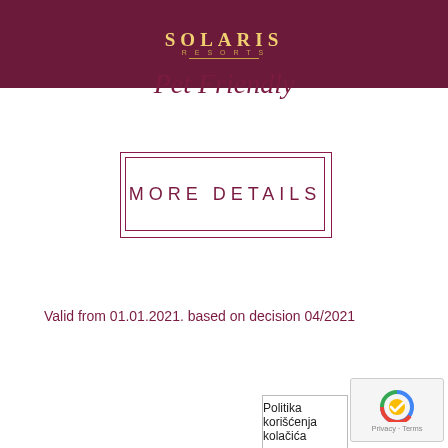SOLARIS RESORTS Pet Friendly
MORE DETAILS
Valid from 01.01.2021. based on decision 04/2021
Politika korišćenja kolačića